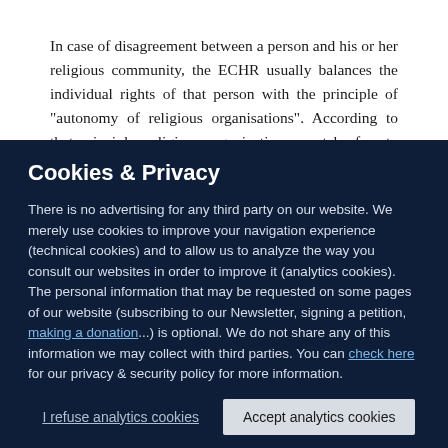In case of disagreement between a person and his or her religious community, the ECHR usually balances the individual rights of that person with the principle of "autonomy of religious organisations". According to that principle, religious organizations must be free to operate and
Cookies & Privacy
There is no advertising for any third party on our website. We merely use cookies to improve your navigation experience (technical cookies) and to allow us to analyze the way you consult our websites in order to improve it (analytics cookies). The personal information that may be requested on some pages of our website (subscribing to our Newsletter, signing a petition, making a donation...) is optional. We do not share any of this information we may collect with third parties. You can check here for our privacy & security policy for more information.
I refuse analytics cookies | Accept analytics cookies